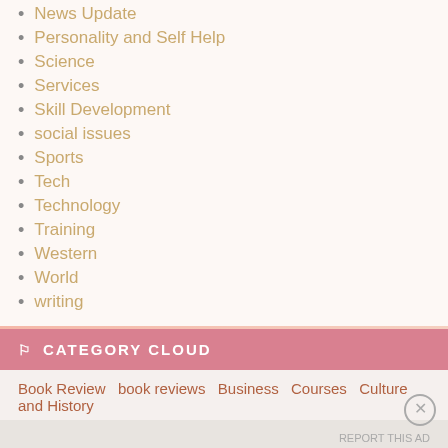News Update
Personality and Self Help
Science
Services
Skill Development
social issues
Sports
Tech
Technology
Training
Western
World
writing
CATEGORY CLOUD
Book Review  book reviews  Business  Courses  Culture and History
Advertisements